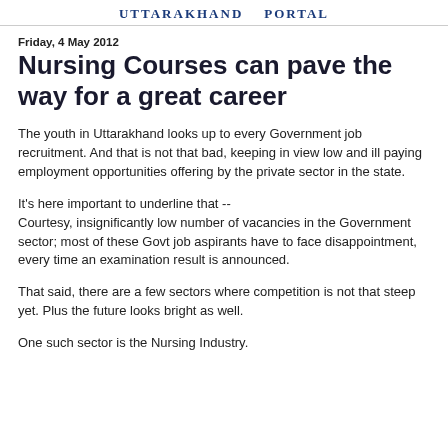UTTARAKHAND PORTAL
Friday, 4 May 2012
Nursing Courses can pave the way for a great career
The youth in Uttarakhand looks up to every Government job recruitment. And that is not that bad, keeping in view low and ill paying employment opportunities offering by the private sector in the state.
It's here important to underline that -- Courtesy, insignificantly low number of vacancies in the Government sector; most of these Govt job aspirants have to face disappointment, every time an examination result is announced.
That said, there are a few sectors where competition is not that steep yet. Plus the future looks bright as well.
One such sector is the Nursing Industry.